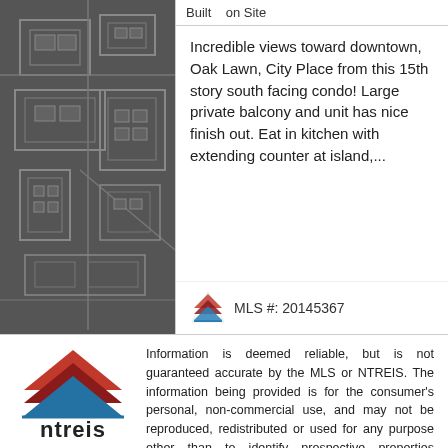[Figure (map): Dark gray map/floor plan image showing building outline and surroundings]
Built    on Site
Incredible views toward downtown, Oak Lawn, City Place from this 15th story south facing condo! Large private balcony and unit has nice finish out. Eat in kitchen with extending counter at island,...
MLS #: 20145367
[Figure (logo): NTREIS logo with triangular stacked shapes in red, dark red and blue, with 'ntreis' text below]
Information is deemed reliable, but is not guaranteed accurate by the MLS or NTREIS. The information being provided is for the consumer's personal, non-commercial use, and may not be reproduced, redistributed or used for any purpose other than to identify prospective properties consumers may be interested in purchasing. Real estate listings held by brokerage firms other than Nu Home